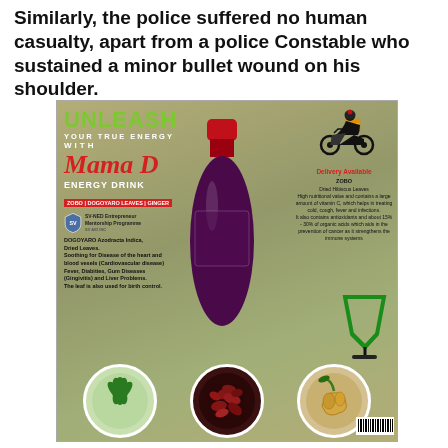Similarly, the police suffered no human casualty, apart from a police Constable who sustained a minor bullet wound on his shoulder.
[Figure (infographic): Advertisement for Mama D Energy Drink made with Zobo (Dried Hibiscus Leaves), Dogoyaro Leaves, and Ginger. Features a large bottle of dark purple liquid in the center, three circular ingredient photos at the bottom (green leaves, dried hibiscus, ginger root), a delivery available motorcycle icon on the top right, product benefits text on left and right, and SV-NED Entrepreneur Mentorship Programme logo. Green cup logo overlapping bottom right circle.]